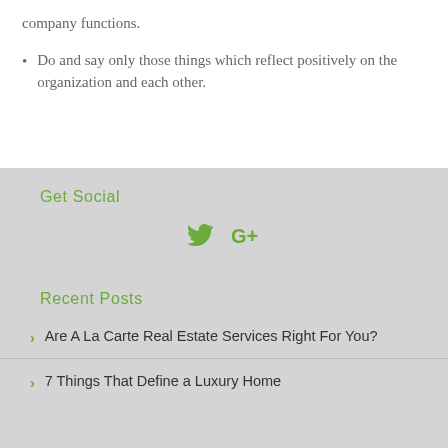company functions.
Do and say only those things which reflect positively on the organization and each other.
Get Social
[Figure (other): Twitter and Google+ social media icons in green]
Recent Posts
Are A La Carte Real Estate Services Right For You?
7 Things That Define a Luxury Home